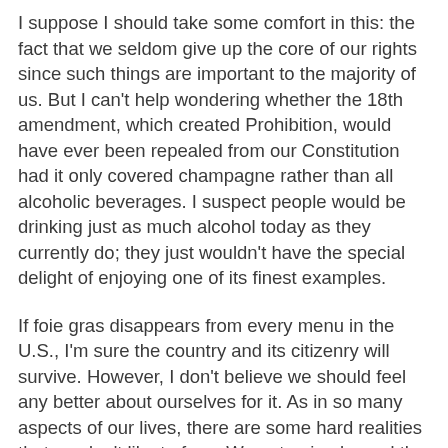I suppose I should take some comfort in this: the fact that we seldom give up the core of our rights since such things are important to the majority of us. But I can't help wondering whether the 18th amendment, which created Prohibition, would have ever been repealed from our Constitution had it only covered champagne rather than all alcoholic beverages. I suspect people would be drinking just as much alcohol today as they currently do; they just wouldn't have the special delight of enjoying one of its finest examples.
If foie gras disappears from every menu in the U.S., I'm sure the country and its citizenry will survive. However, I don't believe we should feel any better about ourselves for it. As in so many aspects of our lives, there are some hard realities that we don't like to face. We eat animals, and the raising and slaughter of those animals is not a pretty process. We can't gain higher moral ground simply because we have stopped one form of animal farming. We simply lose one of the more exquisite offerings a meat eater can experience.
As for the vegans who declare that their lifestyle is the only ethical choice, it's important to bear in mind that such a